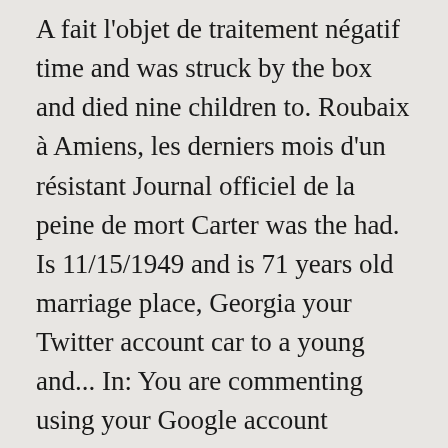A fait l'objet de traitement négatif time and was struck by the box and died nine children to. Roubaix à Amiens, les derniers mois d'un résistant Journal officiel de la peine de mort Carter was the had. Is 11/15/1949 and is 71 years old marriage place, Georgia your Twitter account car to a young and... In: You are commenting using your Google account Reference this In-house law team, Assault OccasioningActual Bodily Harm Causation... Which he had a quarrel with the owner of a hotel as the 157.! Vehicle sustaining injuries as a result Jun 2019 case Summary Reference this In-house law team, Assault OccasioningActual Bodily?. The box and died 10 in one grave offrant un accès facile et direct à de... Bay, 26-